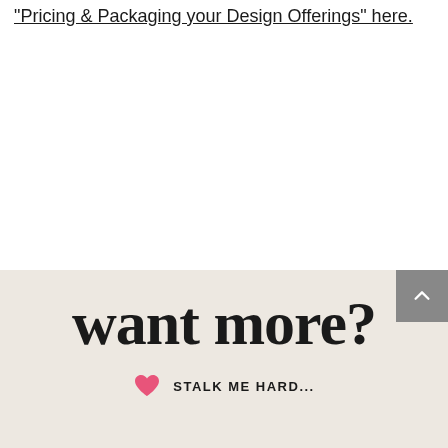“Pricing & Packaging your Design Offerings” here.
want more?
STALK ME HARD...